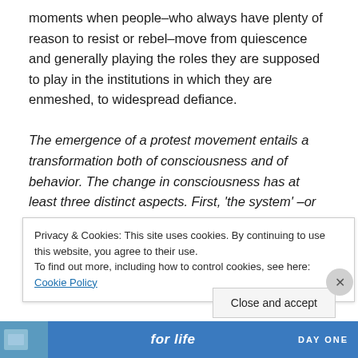moments when people–who always have plenty of reason to resist or rebel–move from quiescence and generally playing the roles they are supposed to play in the institutions in which they are enmeshed, to widespread defiance.
The emergence of a protest movement entails a transformation both of consciousness and of behavior. The change in consciousness has at least three distinct aspects. First, 'the system' –or those aspects of the system that people experience and perceive–loses
Privacy & Cookies: This site uses cookies. By continuing to use this website, you agree to their use.
To find out more, including how to control cookies, see here: Cookie Policy
Close and accept